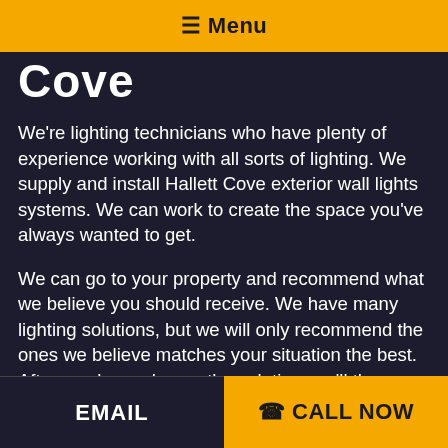☰ Menu
Cove
We're lighting technicians who have plenty of experience working with all sorts of lighting. We supply and install Hallett Cove exterior wall lights systems. We can work to create the space you've always wanted to get.
We can go to your property and recommend what we believe you should receive. We have many lighting solutions, but we will only recommend the ones we believe matches your situation the best. After you have chosen the solution, we'll then explain the best way to go about installing it.
EMAIL   ☎ CALL NOW